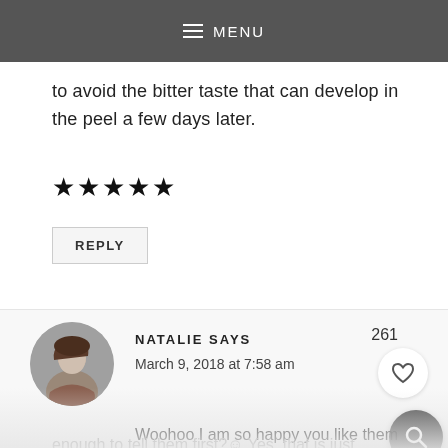MENU
to avoid the bitter taste that can develop in the peel a few days later.
★★★★★
REPLY
NATALIE SAYS
March 9, 2018 at 7:58 am
261
Woohoo I am so happy you like them Roseann!! And shared too, did anyone guess the secret ingredient or were you kind enough to tell them first?☺ Yes, that is just shredded coconut sprinkled on top. And
[Figure (photo): Circular avatar photo of Natalie, a woman with dark hair]